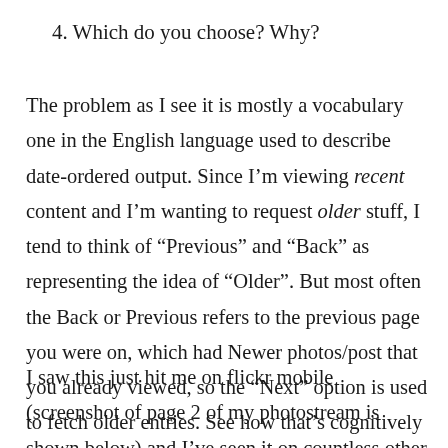4. Which do you choose? Why?
The problem as I see it is mostly a vocabulary one in the English language used to describe date-ordered output. Since I’m viewing recent content and I’m wanting to request older stuff, I tend to think of “Previous” and “Back” as representing the idea of “Older”. But most often the Back or Previous refers to the previous page you were on, which had Newer photos/post that you already viewed, so the “Next” option is used to fetch older entries. See how that’s cognitively backwards?
I saw this just hit me on flickr mobile (screenshot of page 2 of my photostream is shown below) and I’ve seen it on countless other blogs and web applications. I